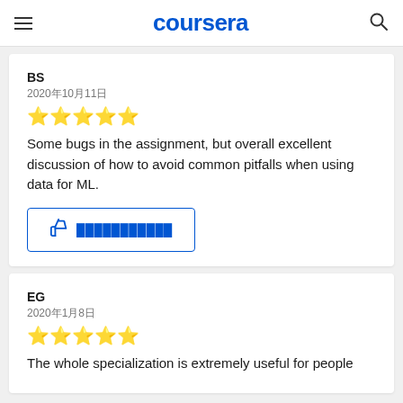coursera
BS
2020年10月11日
★★★★★
Some bugs in the assignment, but overall excellent discussion of how to avoid common pitfalls when using data for ML.
EG
2020年1月8日
★★★★★
The whole specialization is extremely useful for people